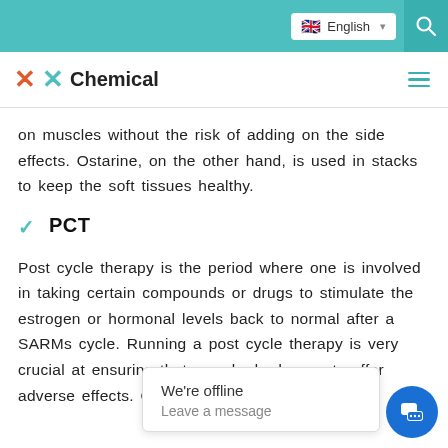English
XX Chemical
on muscles without the risk of adding on the side effects. Ostarine, on the other hand, is used in stacks to keep the soft tissues healthy.
PCT
Post cycle therapy is the period where one is involved in taking certain compounds or drugs to stimulate the estrogen or hormonal levels back to normal after a SARMs cycle. Running a post cycle therapy is very crucial at ensuring that your body does not suffer adverse effects. GW... suppress the produ... b...